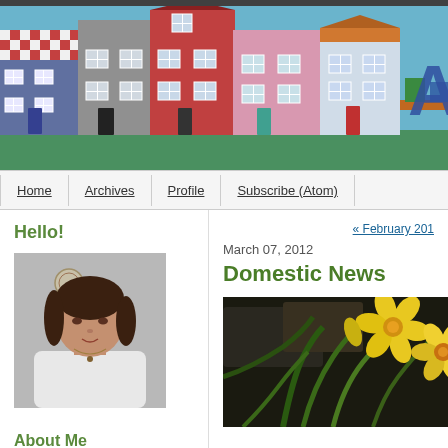[Figure (illustration): Blog header banner showing illustrated houses in a row on a blue background with the letter 'A' partially visible on the right]
Home | Archives | Profile | Subscribe (Atom)
Hello!
[Figure (photo): Portrait photo of a woman with short dark hair wearing a white top and gold necklace, with a decorative plate on the wall behind her]
About Me
Thank you so much for visiting
« February 201
March 07, 2012
Domestic News
[Figure (photo): Close-up photo of yellow daffodil flowers with dark background]